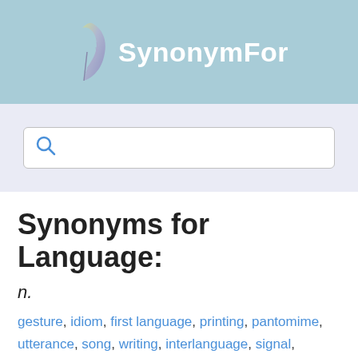[Figure (logo): SynonymFor website logo with a feather/quill icon and white bold text 'SynonymFor' on a light blue background]
[Figure (screenshot): Search input box with a blue magnifying glass icon on a light purple/grey background]
Synonyms for Language:
n.
gesture, idiom, first language, printing, pantomime, utterance, song, writing, interlanguage, signal, acrolect, gibberish, poetry, vernacular, voice, conversation, prose,